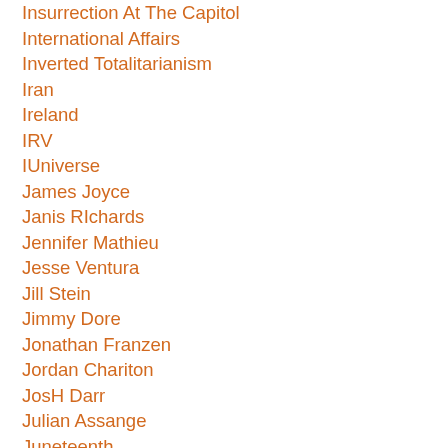Insurrection At The Capitol
International Affairs
Inverted Totalitarianism
Iran
Ireland
IRV
IUniverse
James Joyce
Janis RIchards
Jennifer Mathieu
Jesse Ventura
Jill Stein
Jimmy Dore
Jonathan Franzen
Jordan Chariton
JosH Darr
Julian Assange
Juneteenth
Justice
Kenneth Kendrick
Kenneth Mejia